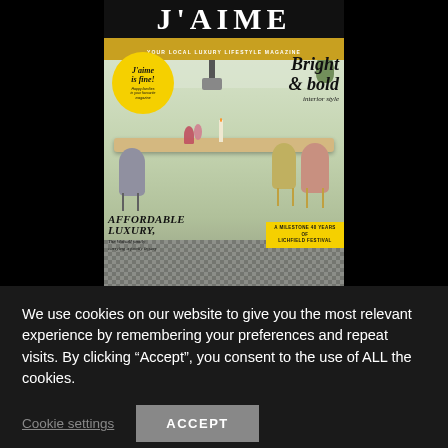[Figure (photo): Cover of J'AIME magazine — 'Your Local Luxury Lifestyle Magazine'. Features a dining room scene with colorful chairs around a table, a yellow circular badge reading 'J'aime is fine! Happy families in your favourite magazine', italic text 'Bright & bold interior style', 'AFFORDABLE LUXURY, The Walsall family carrying a family legacy', and a yellow banner 'A MILESTONE 40 YEARS OF LICHFIELD FESTIVAL'.]
We use cookies on our website to give you the most relevant experience by remembering your preferences and repeat visits. By clicking "Accept", you consent to the use of ALL the cookies.
Cookie settings
ACCEPT